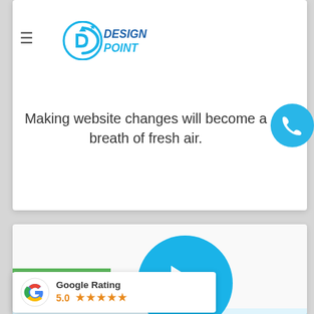[Figure (screenshot): Design Point web agency website screenshot showing logo, navigation, CMS platform text, and Google Rating widget]
It's time to create some magic! We begin the process of converting your web design into a user-friendly CMS platform.
Making website changes will become a breath of fresh air.
[Figure (logo): Design Point logo with blue circular arrow icon and bold blue text 'DESIGN POINT']
[Figure (infographic): Google Rating widget showing 5.0 stars with Google G logo and orange stars]
Google Rating 5.0 ★★★★★